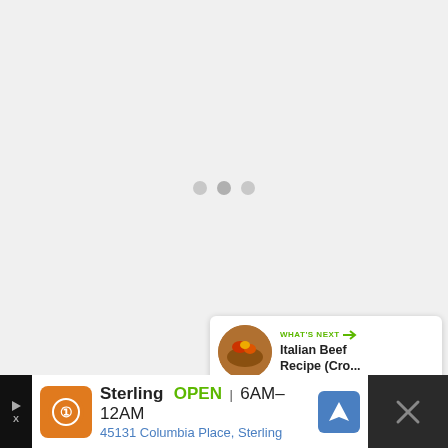[Figure (screenshot): Loading screen with three grey dots indicating content is loading]
[Figure (infographic): Green circular heart/like button with count of 136 and white share button below]
[Figure (infographic): What's Next panel showing Italian Beef Recipe (Cro... with food thumbnail]
[Figure (infographic): Advertisement bar for Sterling restaurant: OPEN 6AM-12AM, 45131 Columbia Place, Sterling]